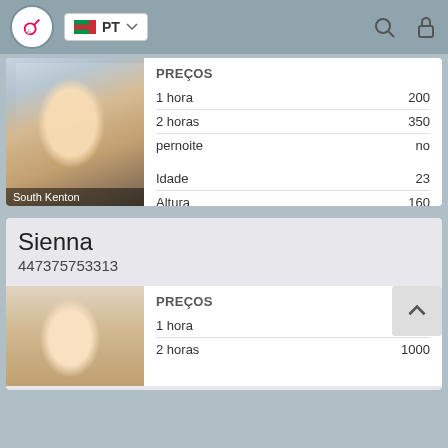PT navigation bar with search and lock icons
[Figure (photo): Blonde woman in white outfit at South Kenton]
|  |  |
| --- | --- |
| PREÇOS |  |
| 1 hora | 200 |
| 2 horas | 350 |
| pernoite | no |
| Idade | 23 |
| Altura | 160 |
| Peso | 48 |
| Mama | 2 |
Sienna
447375753313
[Figure (photo): Blonde woman partial photo]
|  |  |
| --- | --- |
| PREÇOS |  |
| 1 hora | 600 |
| 2 horas | 1000 |